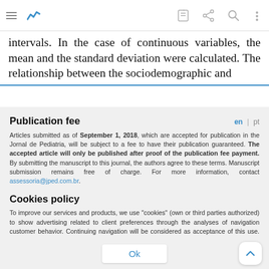[Browser toolbar with hamburger menu, logo, edit, share, search, and more icons]
intervals. In the case of continuous variables, the mean and the standard deviation were calculated. The relationship between the sociodemographic and
Publication fee
Articles submitted as of September 1, 2018, which are accepted for publication in the Jornal de Pediatria, will be subject to a fee to have their publication guaranteed. The accepted article will only be published after proof of the publication fee payment. By submitting the manuscript to this journal, the authors agree to these terms. Manuscript submission remains free of charge. For more information, contact assessoria@jped.com.br.
Cookies policy
To improve our services and products, we use "cookies" (own or third parties authorized) to show advertising related to client preferences through the analyses of navigation customer behavior. Continuing navigation will be considered as acceptance of this use. You can change the settings or obtain more information by clicking here.